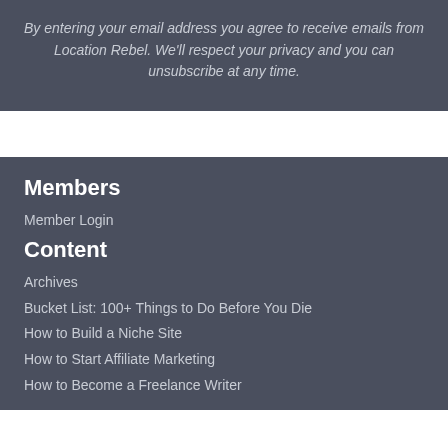By entering your email address you agree to receive emails from Location Rebel. We'll respect your privacy and you can unsubscribe at any time.
Members
Member Login
Content
Archives
Bucket List: 100+ Things to Do Before You Die
How to Build a Niche Site
How to Start Affiliate Marketing
How to Become a Freelance Writer